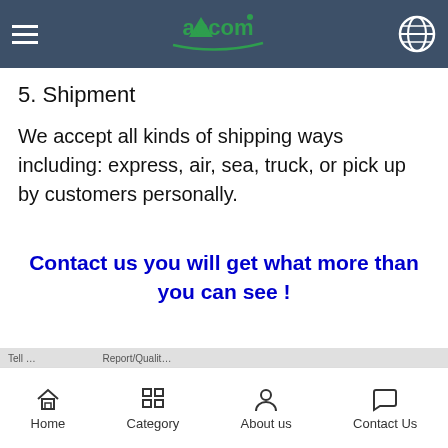aocom (logo and navigation)
5. Shipment
We accept all kinds of shipping ways including: express, air, sea, truck, or pick up by customers personally.
Contact us you will get what more than you can see !
Home | Category | About us | Contact Us